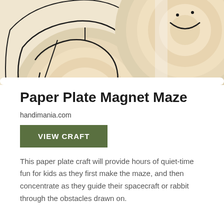[Figure (photo): Two circular wooden paper plate mazes with concentric circle patterns and black drawn-on paths visible from above, placed on a white surface.]
Paper Plate Magnet Maze
handimania.com
VIEW CRAFT
This paper plate craft will provide hours of quiet-time fun for kids as they first make the maze, and then concentrate as they guide their spacecraft or rabbit through the obstacles drawn on.